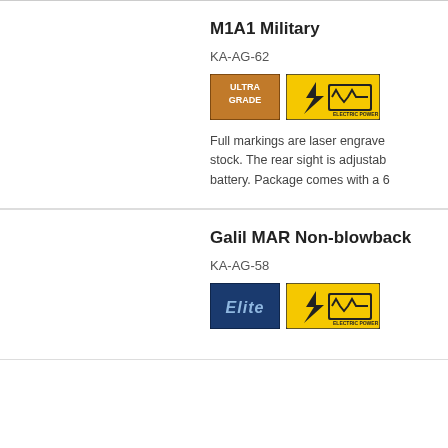M1A1 Military
KA-AG-62
[Figure (logo): Ultra Grade badge and Electric Power badge]
Full markings are laser engrave... stock. The rear sight is adjustab... battery. Package comes with a 6...
Galil MAR Non-blowback
KA-AG-58
[Figure (logo): Elite badge and Electric Power badge]